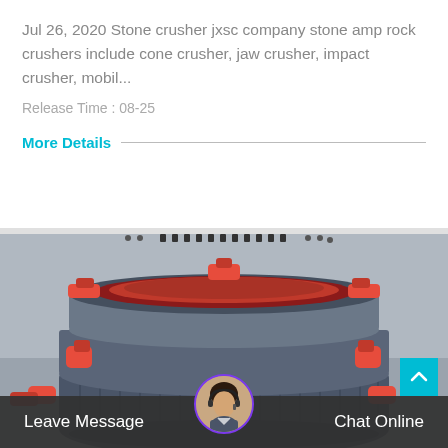Jul 26, 2020 Stone crusher jxsc company stone amp rock crushers include cone crusher, jaw crusher, impact crusher, mobil...
Release Time : 08-25
More Details
[Figure (photo): Close-up photo of a cone crusher machine with gray body and red accent parts/handles, viewed from above at an angle.]
Leave Message
Chat Online